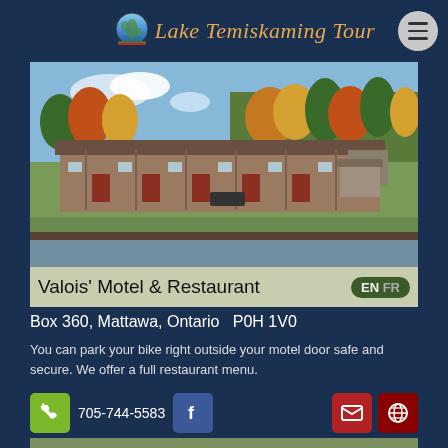Lake Temiskaming Tour
[Figure (photo): Exterior photo of a motel with low-rise single-story units along a waterfront with trees in autumn colors in the background]
Valois' Motel & Restaurant
EN FR
Box 360, Mattawa, Ontario  P0H 1V0
You can park your bike right outside your motel door safe and secure. We offer a full restaurant menu.
705-744-5583
[Figure (photo): Partial bottom image of another property]